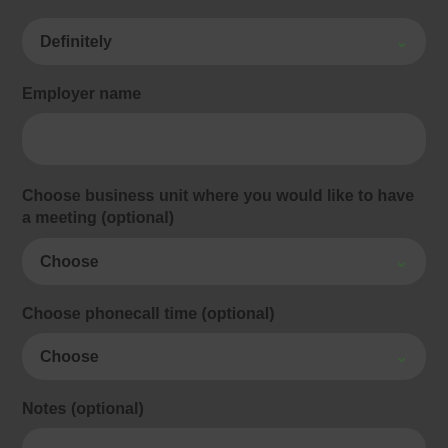Definitely (dropdown)
Employer name
Choose business unit where you would like to have a meeting (optional)
Choose (dropdown)
Choose phonecall time (optional)
Choose (dropdown)
Notes (optional)